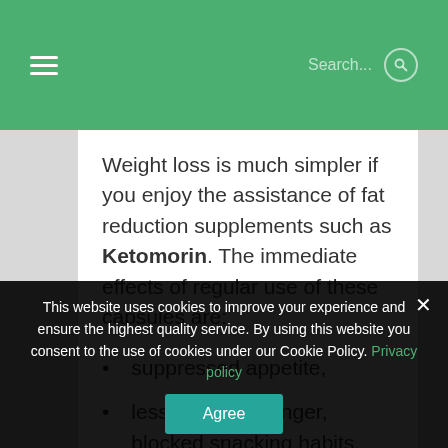Search...
Weight loss is much simpler if you enjoy the assistance of fat reduction supplements such as Ketomorin. The immediate effects of regular use of these capsules are:
suppressed appetite,
less frequent hunger, blocked snacking habits,
more energy throughout the day,
better mood, more enthusiasm for
This website uses cookies to improve your experience and ensure the highest quality service. By using this website you consent to the use of cookies under our Cookie Policy. Privacy policy